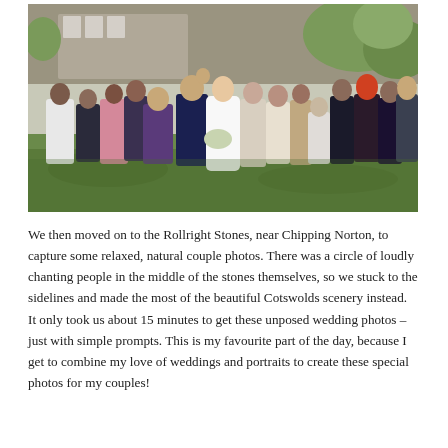[Figure (photo): A large wedding group photo taken outdoors on a grass lawn in front of a stone building with trees. A bride in a white dress and groom in a navy suit are at the centre being kissed/embraced, surrounded by approximately 20 wedding guests of various ages dressed in formal/smart attire. Some guests are waving and smiling.]
We then moved on to the Rollright Stones, near Chipping Norton, to capture some relaxed, natural couple photos. There was a circle of loudly chanting people in the middle of the stones themselves, so we stuck to the sidelines and made the most of the beautiful Cotswolds scenery instead. It only took us about 15 minutes to get these unposed wedding photos – just with simple prompts. This is my favourite part of the day, because I get to combine my love of weddings and portraits to create these special photos for my couples!